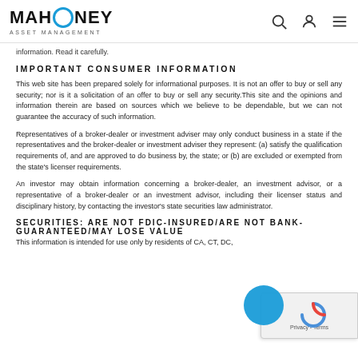MAHONEY ASSET MANAGEMENT
information. Read it carefully.
IMPORTANT CONSUMER INFORMATION
This web site has been prepared solely for informational purposes. It is not an offer to buy or sell any security; nor is it a solicitation of an offer to buy or sell any security.This site and the opinions and information therein are based on sources which we believe to be dependable, but we can not guarantee the accuracy of such information.
Representatives of a broker-dealer or investment adviser may only conduct business in a state if the representatives and the broker-dealer or investment adviser they represent: (a) satisfy the qualification requirements of, and are approved to do business by, the state; or (b) are excluded or exempted from the state's licenser requirements.
An investor may obtain information concerning a broker-dealer, an investment advisor, or a representative of a broker-dealer or an investment advisor, including their licenser status and disciplinary history, by contacting the investor's state securities law administrator.
SECURITIES: ARE NOT FDIC-INSURED/ARE NOT BANK-GUARANTEED/MAY LOSE VALUE
This information is intended for use only by residents of CA, CT, DC,